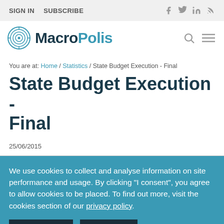SIGN IN   SUBSCRIBE
[Figure (logo): MacroPolis logo with circular maze icon]
You are at: Home / Statistics / State Budget Execution - Final
State Budget Execution - Final
25/06/2015
We use cookies to collect and analyse information on site performance and usage. By clicking "I consent", you agree to allow cookies to be placed. To find out more, visit the cookies section of our privacy policy.
I CONSENT   I REFUSE